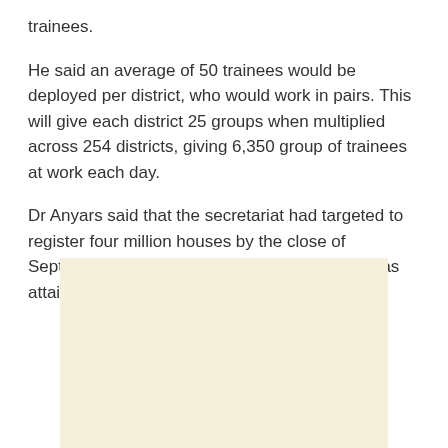trainees.
He said an average of 50 trainees would be deployed per district, who would work in pairs. This will give each district 25 groups when multiplied across 254 districts, giving 6,350 group of trainees at work each day.
Dr Anyars said that the secretariat had targeted to register four million houses by the close of September and was optimistic that the target was attainable.
[Figure (other): Blank cream/beige colored advertisement box placeholder]